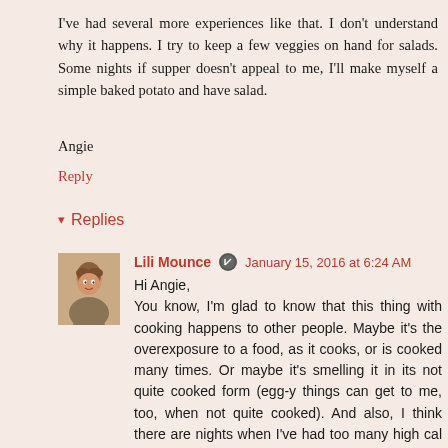I've had several more experiences like that. I don't understand why it happens. I try to keep a few veggies on hand for salads. Some nights if supper doesn't appeal to me, I'll make myself a simple baked potato and have salad.
Angie
Reply
▾ Replies
[Figure (photo): Small avatar photo of a woman with brown hair]
Lili Mounce   January 15, 2016 at 6:24 AM
Hi Angie,
You know, I'm glad to know that this thing with cooking happens to other people. Maybe it's the overexposure to a food, as it cooks, or is cooked many times. Or maybe it's smelling it in its not quite cooked form (egg-y things can get to me, too, when not quite cooked). And also, I think there are nights when I've had too many high cal dinners, and my body just wants something lean.
A simple salad and baked potato does sound like